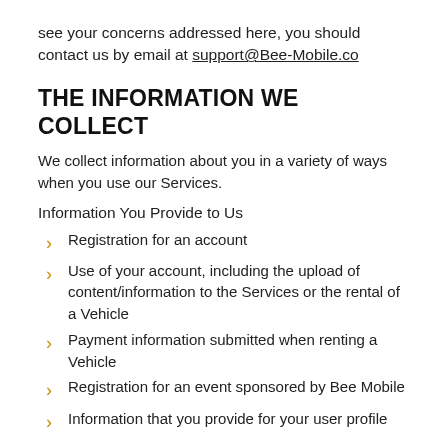see your concerns addressed here, you should contact us by email at support@Bee-Mobile.co
THE INFORMATION WE COLLECT
We collect information about you in a variety of ways when you use our Services.
Information You Provide to Us
Registration for an account
Use of your account, including the upload of content/information to the Services or the rental of a Vehicle
Payment information submitted when renting a Vehicle
Registration for an event sponsored by Bee Mobile
Information that you provide for your user profile